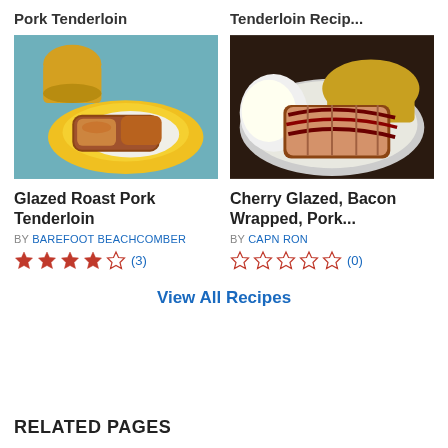Pork Tenderloin
Tenderloin Recip...
[Figure (photo): Glazed roast pork tenderloin pieces on a yellow plate with a ceramic container in background]
[Figure (photo): Cherry glazed bacon wrapped pork tenderloin slices on a plate with yellow rice and cream]
Glazed Roast Pork Tenderloin
BY BAREFOOT BEACHCOMBER
★★★★☆ (3)
Cherry Glazed, Bacon Wrapped, Pork...
BY CAPN RON
☆☆☆☆☆ (0)
View All Recipes
RELATED PAGES